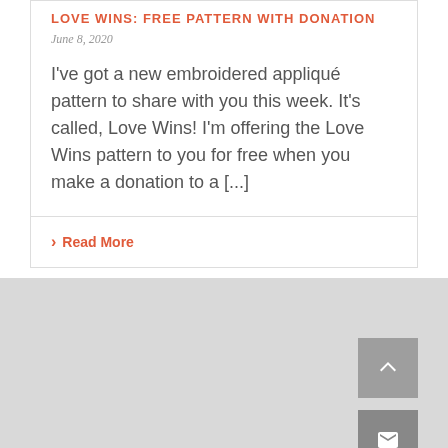LOVE WINS: FREE PATTERN WITH DONATION
June 8, 2020
I've got a new embroidered appliqué pattern to share with you this week. It's called, Love Wins! I'm offering the Love Wins pattern to you for free when you make a donation to a [...]
› Read More
[Figure (other): Gray footer area with scroll-to-top button (chevron up icon) and email/envelope icon button on the right side]